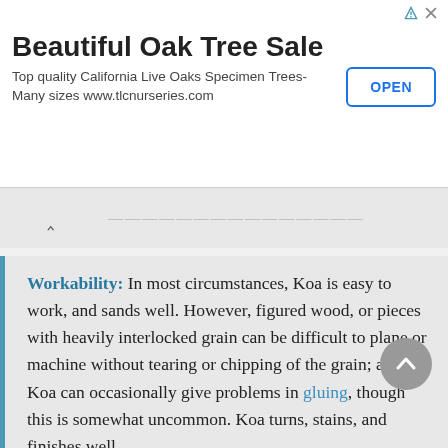[Figure (screenshot): Advertisement banner for Beautiful Oak Tree Sale from tlcnurseries.com with an OPEN button]
also susceptible to termite attack.
Workability: In most circumstances, Koa is easy to work, and sands well. However, figured wood, or pieces with heavily interlocked grain can be difficult to plane or machine without tearing or chipping of the grain; also, Koa can occasionally give problems in gluing, though this is somewhat uncommon. Koa turns, stains, and finishes well.
Odor: No characteristic odor.